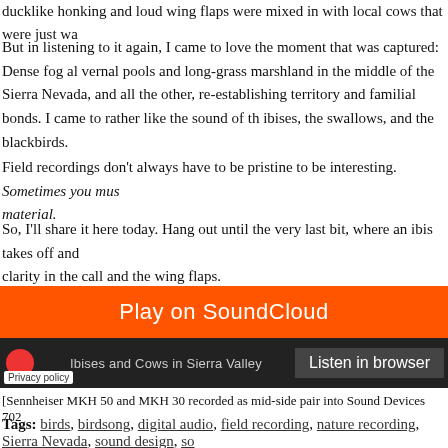ducklike honking and loud wing flaps were mixed in with local cows that were just wa
But in listening to it again, I came to love the moment that was captured: Dense fog al vernal pools and long-grass marshland in the middle of the Sierra Nevada, and all the other, re-establishing territory and familial bonds. I came to rather like the sound of th ibises, the swallows, and the blackbirds.
Field recordings don't always have to be pristine to be interesting. Sometimes you mus material.
So, I'll share it here today. Hang out until the very last bit, where an ibis takes off and clarity in the call and the wing flaps.
[Figure (screenshot): SoundCloud embedded player with orange 'Play on SoundCloud' bar, dark bottom bar showing 'Ibises and Cows in Sierra Valley' track label and 'Listen in browser' button, with Privacy policy link.]
[Sennheiser MKH 50 and MKH 30 recorded as mid-side pair into Sound Devices 702
Tags: birds, birdsong, digital audio, field recording, nature recording, Sierra Nevada, sound design, so